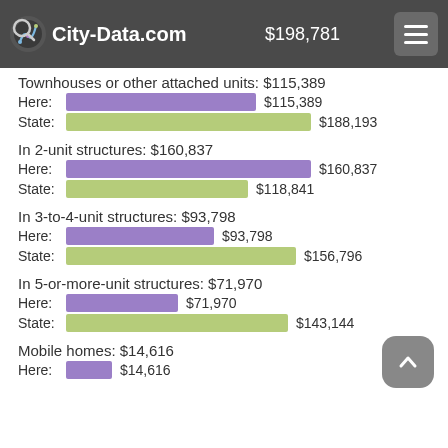City-Data.com | $198,781
Townhouses or other attached units: $115,389
Here: $115,389
State: $188,193
In 2-unit structures: $160,837
Here: $160,837
State: $118,841
In 3-to-4-unit structures: $93,798
Here: $93,798
State: $156,796
In 5-or-more-unit structures: $71,970
Here: $71,970
State: $143,144
Mobile homes: $14,616
Here: $14,616